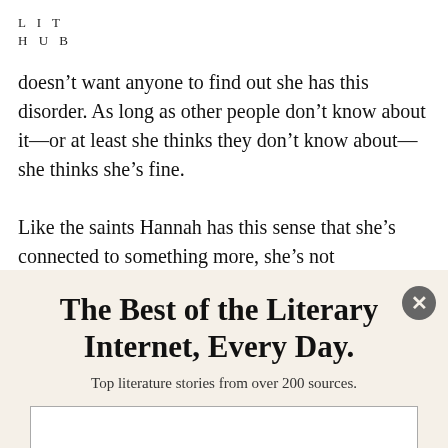LIT HUB
doesn’t want anyone to find out she has this disorder. As long as other people don’t know about it—or at least she thinks they don’t know about—she thinks she’s fine.

Like the saints Hannah has this sense that she’s connected to something more, she’s not
The Best of the Literary Internet, Every Day.
Top literature stories from over 200 sources.
[email input field]
SUBSCRIBE